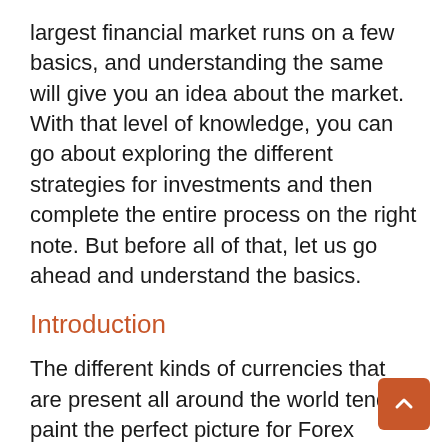largest financial market runs on a few basics, and understanding the same will give you an idea about the market. With that level of knowledge, you can go about exploring the different strategies for investments and then complete the entire process on the right note. But before all of that, let us go ahead and understand the basics.
Introduction
The different kinds of currencies that are present all around the world tend to paint the perfect picture for Forex because it is these currencies that are traded in the market. Yes, that's right. As the Foreign